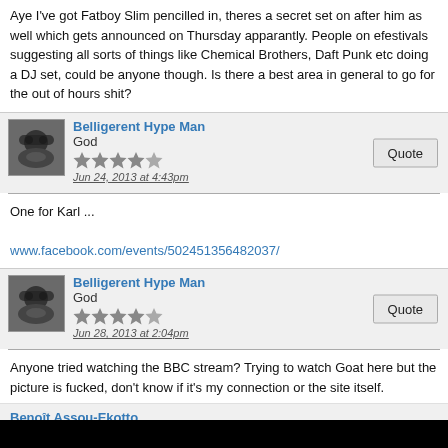Aye I've got Fatboy Slim pencilled in, theres a secret set on after him as well which gets announced on Thursday apparantly. People on efestivals suggesting all sorts of things like Chemical Brothers, Daft Punk etc doing a DJ set, could be anyone though. Is there a best area in general to go for the out of hours shit?
Belligerent Hype Man
God
★★★★★
Jun 24, 2013 at 4:43pm
One for Karl ...

www.facebook.com/events/502451356482037/
Belligerent Hype Man
God
★★★★★
Jun 28, 2013 at 2:04pm
Anyone tried watching the BBC stream? Trying to watch Goat here but the picture is fucked, don't know if it's my connection or the site itself.
Benoît Assou-Ekotto